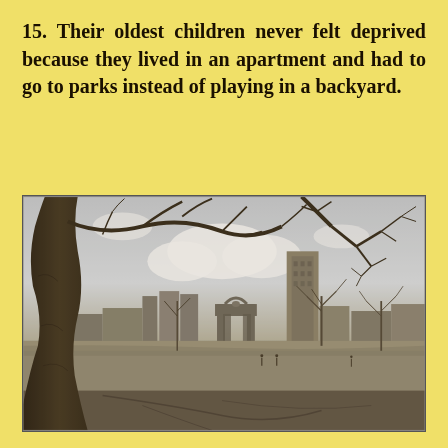15. Their oldest children never felt deprived because they lived in an apartment and had to go to parks instead of playing in a backyard.
[Figure (photo): Black and white photograph of Washington Square Park, New York City. A large tree trunk is in the foreground on the left, with bare winter trees framing the scene. The Washington Square Arch is visible in the center background, flanked by urban apartment buildings. A tall skyscraper rises on the right side. People and paths are visible on the park grounds.]